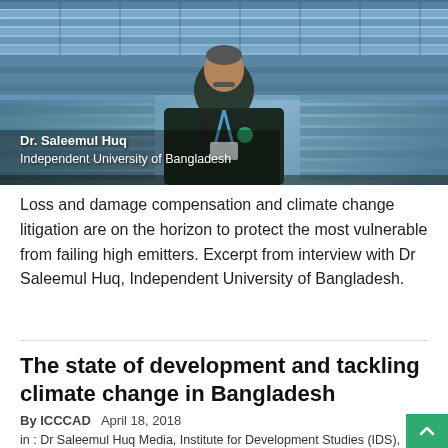[Figure (photo): Photo of Dr. Saleemul Huq, an older man with a mustache wearing a dark suit and blue lanyard, standing in front of rows of solar panels. A caption overlay reads 'Dr. Saleemul Huq, Independent University of Bangladesh'.]
Loss and damage compensation and climate change litigation are on the horizon to protect the most vulnerable from failing high emitters. Excerpt from interview with Dr Saleemul Huq, Independent University of Bangladesh.
The state of development and tackling climate change in Bangladesh
By ICCCAD   April 18, 2018
in : Dr Saleemul Huq Media, Institute for Development Studies (IDS), Video-Media